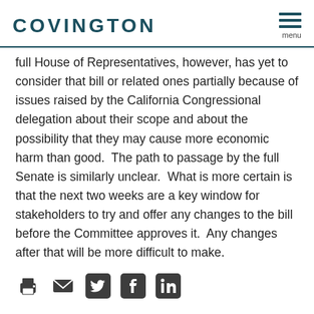COVINGTON
full House of Representatives, however, has yet to consider that bill or related ones partially because of issues raised by the California Congressional delegation about their scope and about the possibility that they may cause more economic harm than good.  The path to passage by the full Senate is similarly unclear.  What is more certain is that the next two weeks are a key window for stakeholders to try and offer any changes to the bill before the Committee approves it.  Any changes after that will be more difficult to make.
[Figure (other): Social sharing icons: print, email, Twitter, Facebook, LinkedIn]